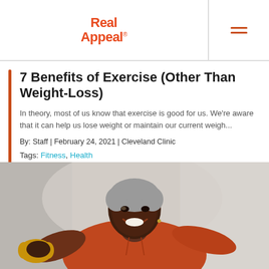Real Appeal
7 Benefits of Exercise (Other Than Weight-Loss)
In theory, most of us know that exercise is good for us. We're aware that it can help us lose weight or maintain our current weigh...
By: Staff | February 24, 2021 | Cleveland Clinic
Tags: Fitness, Health
[Figure (photo): A smiling older Black woman with short gray hair, wearing a rust/orange hoodie, holding a yellow dumbbell and exercising.]